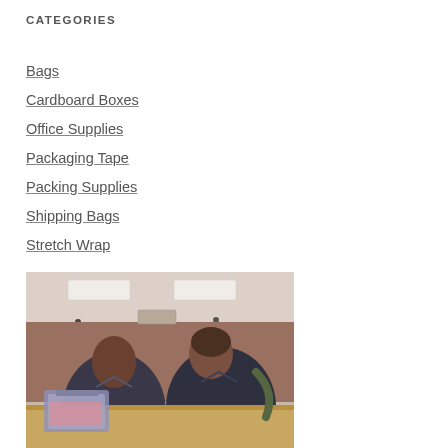CATEGORIES
Bags
Cardboard Boxes
Office Supplies
Packaging Tape
Packing Supplies
Shipping Bags
Stretch Wrap
[Figure (photo): Two people in navy blue uniforms leaning over a large cardboard box in an indoor room with fluorescent ceiling lights. One person is holding what appears to be a packaged item.]